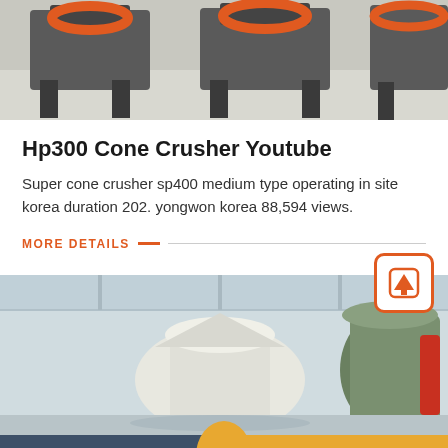[Figure (photo): Industrial machinery (cone crushers) in a factory setting, viewed from above, with orange circular elements on top]
Hp300 Cone Crusher Youtube
Super cone crusher sp400 medium type operating in site korea duration 202. yongwon korea 88,594 views.
MORE DETAILS
[Figure (photo): Industrial cone crushers inside a warehouse/factory with green and white machinery]
Get Quotation
Online Chat